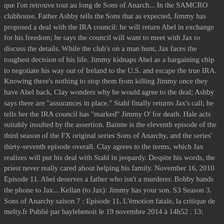que l'on retrouve tout au long de Sons of Anarch... In the SAMCRO clubhouse, Father Ashby tells the Sons that as expected, Jimmy has proposed a deal with the IRA council: he will return Abel in exchange for his freedom; he says the council will want to meet with Jax to discuss the details. While the club's on a man hunt, Jax faces the toughest decision of his life. Jimmy kidnaps Abel as a bargaining chip to negotiate his way out of Ireland to the U.S. and escape the true IRA. Knowing there's nothing to stop them from killing Jimmy once they have Abel back, Clay wonders why he would agree to the deal; Ashby says there are "assurances in place." Stahl finally returns Jax's call; he tells her the IRA council has "marked" Jimmy O' for death. Hale acts suitably insulted by the assertion. Bainne is the eleventh episode of the third season of the FX original series Sons of Anarchy, and the series' thirty-seventh episode overall. Clay agrees to the terms, which Jax realizes will put his deal with Stahl in jeopardy. Despite his words, the priest never really cared about helping his family. November 16, 2010 Episode 11. Abel deserves a father who isn't a murderer. Bobby hands the phone to Jax... Kellan (to Jax): Jimmy has your son. S3 Season 3. Sons of Anarchy saison 7 : Episode 11, L'émotion fatale, la critique de melty.fr Publié par baylebenoit le 19 novembre 2014 à 14h52 . 13: